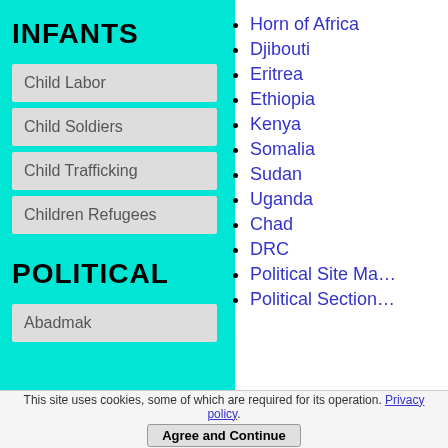INFANTS
Child Labor
Child Soldiers
Child Trafficking
Children Refugees
POLITICAL
Abadmak
Horn of Africa
Djibouti
Eritrea
Ethiopia
Kenya
Somalia
Sudan
Uganda
Chad
DRC
Political Site Ma...
Political Section...
This site uses cookies, some of which are required for its operation. Privacy policy.
Agree and Continue